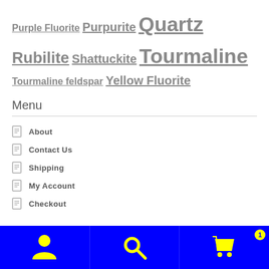Purple Fluorite  Purpurite  Quartz  Rubilite  Shattuckite  Tourmaline  Tourmaline feldspar  Yellow Fluorite
Menu
About
Contact Us
Shipping
My Account
Checkout